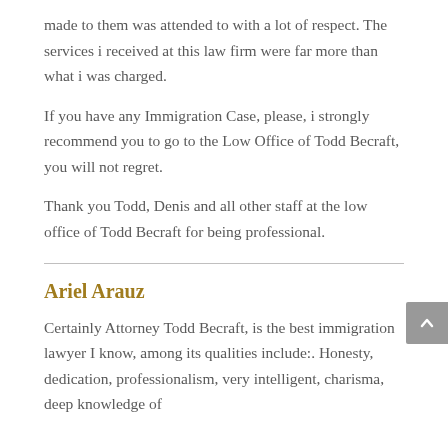made to them was attended to with a lot of respect. The services i received at this law firm were far more than what i was charged.
If you have any Immigration Case, please, i strongly recommend you to go to the Low Office of Todd Becraft, you will not regret.
Thank you Todd, Denis and all other staff at the low office of Todd Becraft for being professional.
Ariel Arauz
Certainly Attorney Todd Becraft, is the best immigration lawyer I know, among its qualities include:. Honesty, dedication, professionalism, very intelligent, charisma, deep knowledge of